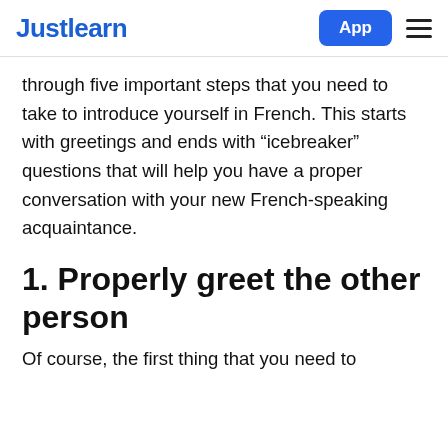Justlearn | App
through five important steps that you need to take to introduce yourself in French. This starts with greetings and ends with “icebreaker” questions that will help you have a proper conversation with your new French-speaking acquaintance.
1. Properly greet the other person
Of course, the first thing that you need to